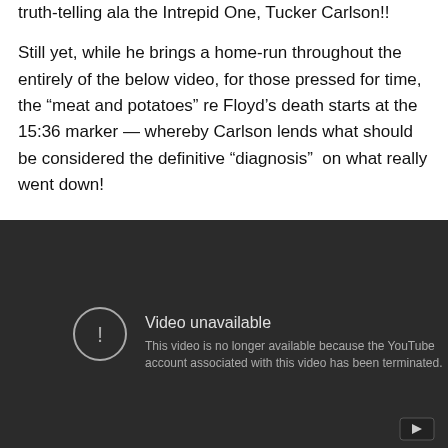truth-telling ala the Intrepid One, Tucker Carlson!!
Still yet, while he brings a home-run throughout the entirely of the below video, for those pressed for time, the “meat and potatoes” re Floyd’s death starts at the 15:36 marker — whereby Carlson lends what should be considered the definitive “diagnosis”  on what really went down!
[Figure (screenshot): Embedded YouTube video player showing 'Video unavailable' error message. Dark background with circle exclamation icon and text: 'This video is no longer available because the YouTube account associated with this video has been terminated.' YouTube play button icon in bottom-right corner.]